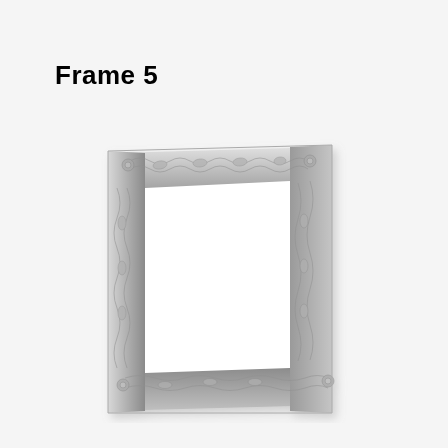Frame 5
[Figure (illustration): A small decorative silver/pewter rectangular picture frame with ornate floral and scroll embossed pattern along all four sides, photographed on a white background. The frame has an open center and is shown at a slight angle.]